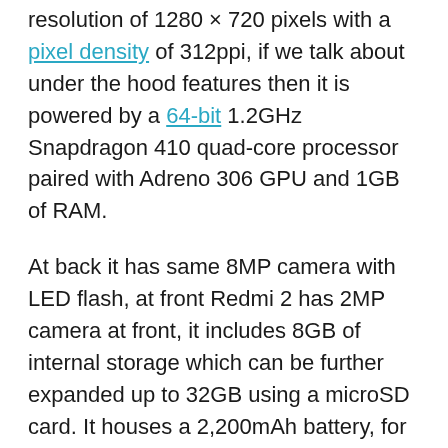resolution of 1280 × 720 pixels with a pixel density of 312ppi, if we talk about under the hood features then it is powered by a 64-bit 1.2GHz Snapdragon 410 quad-core processor paired with Adreno 306 GPU and 1GB of RAM.
At back it has same 8MP camera with LED flash, at front Redmi 2 has 2MP camera at front, it includes 8GB of internal storage which can be further expanded up to 32GB using a microSD card. It houses a 2,200mAh battery, for connectivity it include dual-SIM card slots, LTE, Wi-Fi, Bluetooth, and Micro USB, as per software front, it will run on MIUI 6 out of the box.